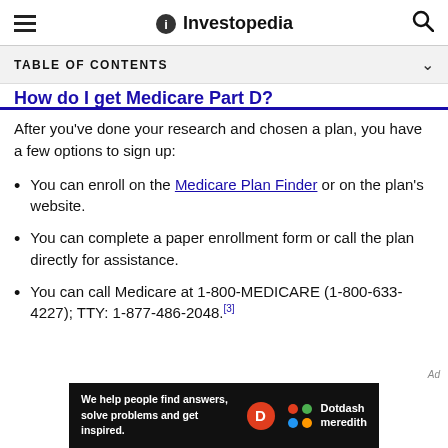Investopedia
TABLE OF CONTENTS
How do I get Medicare Part D?
After you've done your research and chosen a plan, you have a few options to sign up:
You can enroll on the Medicare Plan Finder or on the plan's website.
You can complete a paper enrollment form or call the plan directly for assistance.
You can call Medicare at 1-800-MEDICARE (1-800-633-4227); TTY: 1-877-486-2048.[3]
[Figure (other): Dotdash Meredith advertisement banner: 'We help people find answers, solve problems and get inspired.']